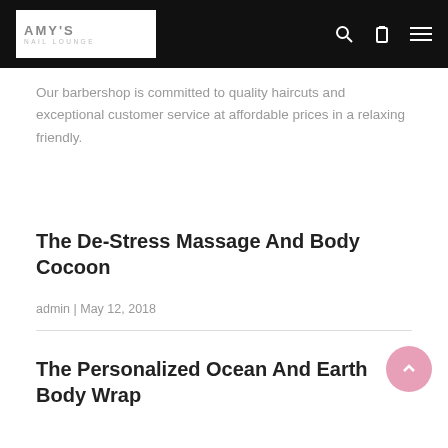Amy's Nail Lounge
Our barbershop is committed to quality haircuts and exceptional customer service at affordable prices in a relaxing friendly.
The De-Stress Massage And Body Cocoon
admin | May 12, 2018
The Personalized Ocean And Earth Body Wrap